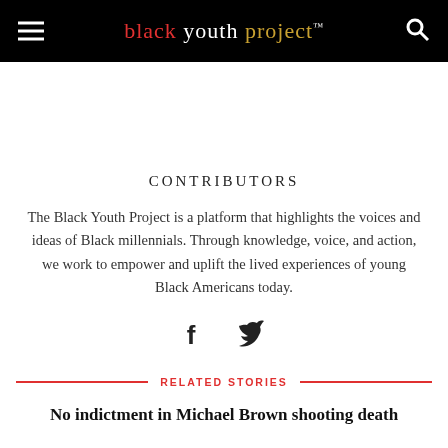black youth project™
CONTRIBUTORS
The Black Youth Project is a platform that highlights the voices and ideas of Black millennials. Through knowledge, voice, and action, we work to empower and uplift the lived experiences of young Black Americans today.
[Figure (illustration): Social media icons: Facebook (f) and Twitter (bird icon) in dark color]
RELATED STORIES
No indictment in Michael Brown shooting death